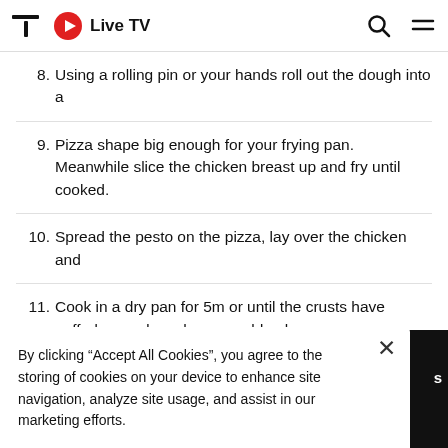Live TV
8. Using a rolling pin or your hands roll out the dough into a
9. Pizza shape big enough for your frying pan. Meanwhile slice the chicken breast up and fry until cooked.
10. Spread the pesto on the pizza, lay over the chicken and
11. Cook in a dry pan for 5m or until the crusts have puffed up and you have a golden base.
12. Next, place it under the grill on the highest heat until just
13. Golden, then serve.
By clicking “Accept All Cookies”, you agree to the storing of cookies on your device to enhance site navigation, analyze site usage, and assist in our marketing efforts.